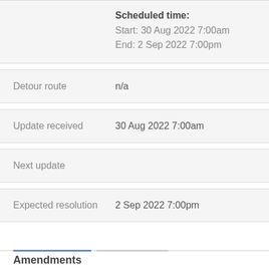|  | Scheduled time:
Start: 30 Aug 2022 7:00am
End: 2 Sep 2022 7:00pm |
| Detour route | n/a |
| Update received | 30 Aug 2022 7:00am |
| Next update |  |
| Expected resolution | 2 Sep 2022 7:00pm |
Amendments